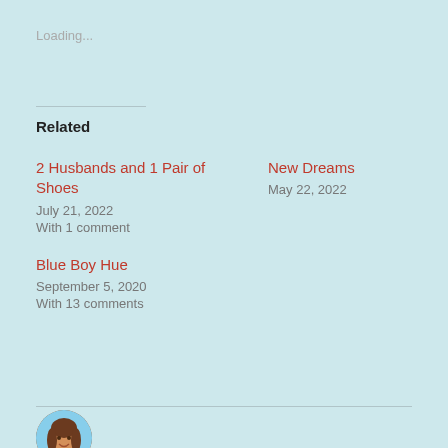Loading...
Related
2 Husbands and 1 Pair of Shoes
July 21, 2022
With 1 comment
New Dreams
May 22, 2022
Blue Boy Hue
September 5, 2020
With 13 comments
[Figure (photo): Circular profile photo of a woman with long brown hair, smiling, outdoors]